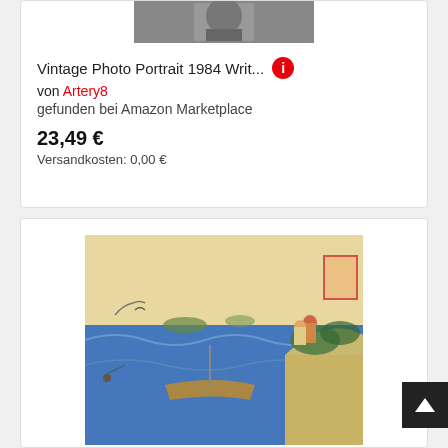[Figure (photo): Black and white vintage portrait photograph, partially visible at top of first card]
Vintage Photo Portrait 1984 Writ...
von Artery8
gefunden bei Amazon Marketplace
23,49 €
Versandkosten: 0,00 €
[Figure (photo): Japanese woodblock print artwork showing women in traditional dress on a rocky shore with boats and sea in the background]